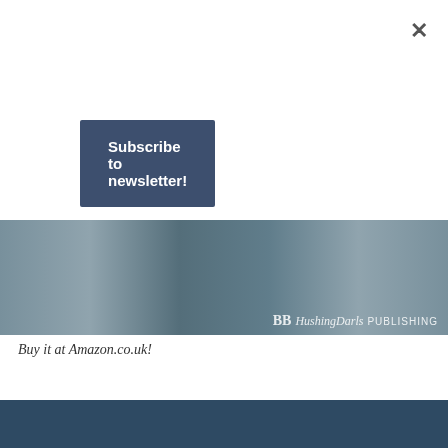×
Subscribe to newsletter!
[Figure (photo): Book cover banner image showing dark background with HushingDarls Publishing logo text on the right side]
Buy it at Amazon.co.uk!
CAROLINE'S GIFT – REGENCY MAGIC, BOOK ONE
Book Release!
October 4, 2018
A brand new book in a brand new series!